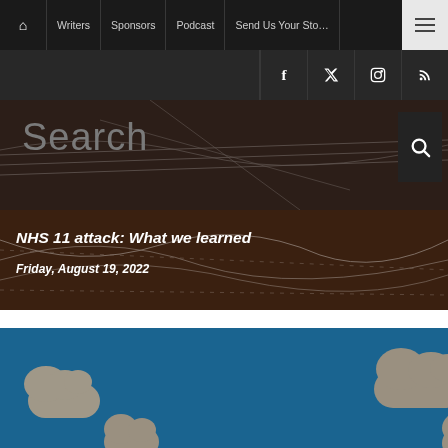Home | Writers | Sponsors | Podcast | Send Us Your Story | Menu
Social links: Facebook, Twitter, Instagram, RSS
Search
NHS 11 attack: What we learned
Friday, August 19, 2022
[Figure (illustration): Blue sky with grey clouds illustration]